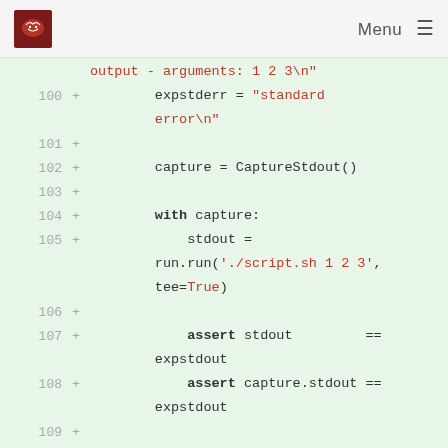Menu
Code diff view showing Python test code, lines 100-111, with additions marked by +. Lines include expstderr assignment, CaptureStdout(), with capture block, stdout assignment via run.run, assert statements, and with capture.reset() block.